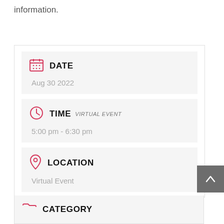information.
DATE
Aug 30 2022
TIME VIRTUAL EVENT
5:00 pm - 6:30 pm
LOCATION
Virtual Event
CATEGORY